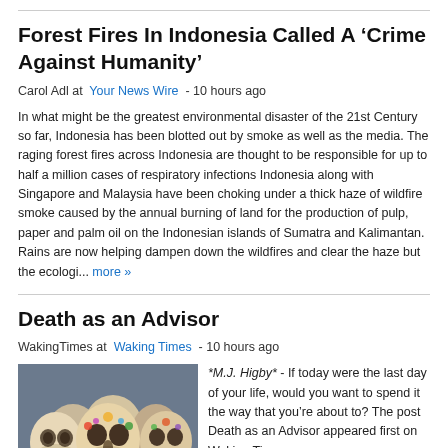Forest Fires In Indonesia Called A ‘Crime Against Humanity’
Carol Adl at Your News Wire - 10 hours ago
In what might be the greatest environmental disaster of the 21st Century so far, Indonesia has been blotted out by smoke as well as the media. The raging forest fires across Indonesia are thought to be responsible for up to half a million cases of respiratory infections Indonesia along with Singapore and Malaysia have been choking under a thick haze of wildfire smoke caused by the annual burning of land for the production of pulp, paper and palm oil on the Indonesian islands of Sumatra and Kalimantan. Rains are now helping dampen down the wildfires and clear the haze but the ecologi... more »
Death as an Advisor
WakingTimes at Waking Times - 10 hours ago
[Figure (photo): Colorful decorative skull figurines, Day of the Dead style]
*M.J. Higby* - If today were the last day of your life, would you want to spend it the way that you’re about to? The post Death as an Advisor appeared first on Waking Times